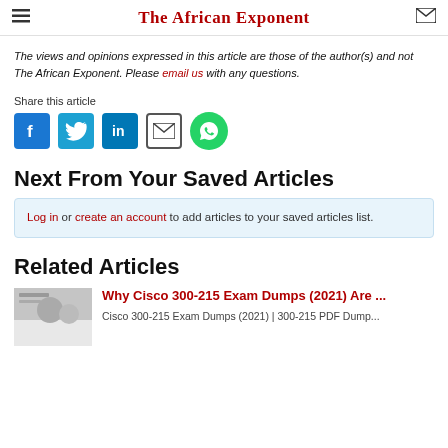The African Exponent
The views and opinions expressed in this article are those of the author(s) and not The African Exponent. Please email us with any questions.
Share this article
[Figure (infographic): Social share icons: Facebook, Twitter, LinkedIn, Email, WhatsApp]
Next From Your Saved Articles
Log in or create an account to add articles to your saved articles list.
Related Articles
Why Cisco 300-215 Exam Dumps (2021) Are ...
Cisco 300-215 Exam Dumps (2021) | 300-215 PDF Dump...